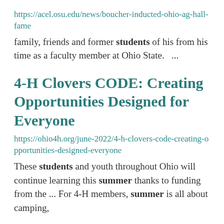https://acel.osu.edu/news/boucher-inducted-ohio-ag-hall-fame
family, friends and former students of his from his time as a faculty member at Ohio State.   ...
4-H Clovers CODE: Creating Opportunities Designed for Everyone
https://ohio4h.org/june-2022/4-h-clovers-code-creating-opportunities-designed-everyone
These students and youth throughout Ohio will continue learning this summer thanks to funding from the ... For 4-H members, summer is all about camping,